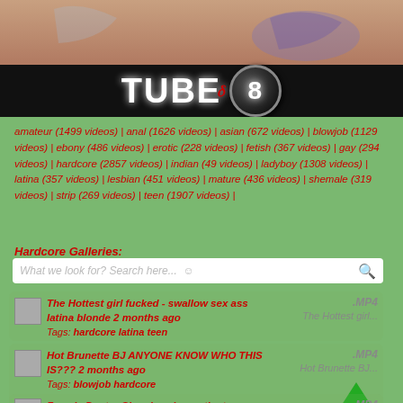[Figure (photo): Tube8 website banner with logo on dark background]
amateur (1499 videos) | anal (1626 videos) | asian (672 videos) | blowjob (1129 videos) | ebony (486 videos) | erotic (228 videos) | fetish (367 videos) | gay (294 videos) | hardcore (2857 videos) | indian (49 videos) | ladyboy (1308 videos) | latina (357 videos) | lesbian (451 videos) | mature (436 videos) | shemale (319 videos) | strip (269 videos) | teen (1907 videos) |
Hardcore Galleries:
What we look for? Search here... ☺
The Hottest girl fucked - swallow sex ass latina blonde 2 months ago | Tags: hardcore latina teen | .MP4 | The Hottest girl...
Hot Brunette BJ ANYONE KNOW WHO THIS IS??? 2 months ago | Tags: blowjob hardcore | .MP4 | Hot Brunette BJ...
Female Doctor She gives her patient a | .MP4 | Female Doctor She...